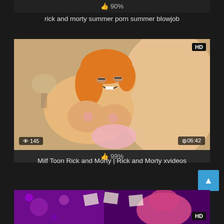[Figure (screenshot): Video thumbnail with like bar showing 90% at the very top of the page]
rick and morty summer porn summer blowjob
[Figure (screenshot): Animated cartoon video thumbnail with HD badge, 145 views, 06:42 duration, and 99% like rating]
Milf Toon Rick and Morty | Rick and Morty xvideos
[Figure (screenshot): Purple-themed animated video thumbnail with HD badge at the bottom of the page]